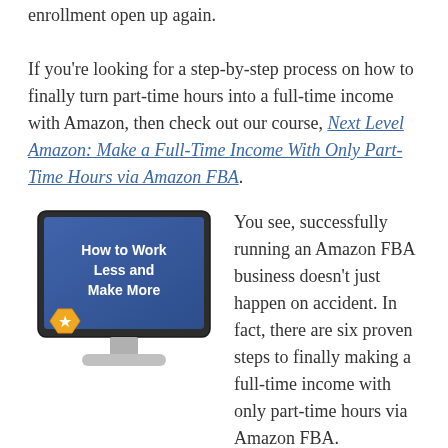enrollment open up again. If you're looking for a step-by-step process on how to finally turn part-time hours into a full-time income with Amazon, then check out our course, Next Level Amazon: Make a Full-Time Income With Only Part-Time Hours via Amazon FBA.
[Figure (illustration): Computer monitor illustration showing 'How to Work Less and Make More' text on a blue screen, with a gold star badge in the lower left corner.]
You see, successfully running an Amazon FBA business doesn't just happen on accident. In fact, there are six proven steps to finally making a full-time income with only part-time hours via Amazon FBA. If you're tired of not seeing the growth you expect in your Amazon